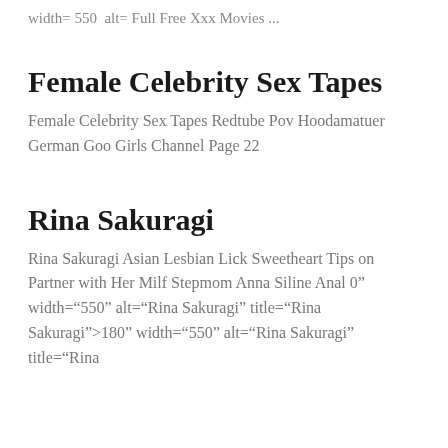width= 550  alt= Full Free Xxx Movies ...
Female Celebrity Sex Tapes
Female Celebrity Sex Tapes Redtube Pov Hoodamatuer German Goo Girls Channel Page 22
Rina Sakuragi
Rina Sakuragi Asian Lesbian Lick Sweetheart Tips on Partner with Her Milf Stepmom Anna Siline Anal 0” width=“550” alt=“Rina Sakuragi” title=“Rina Sakuragi”>180” width=“550” alt=“Rina Sakuragi” title=“Rina